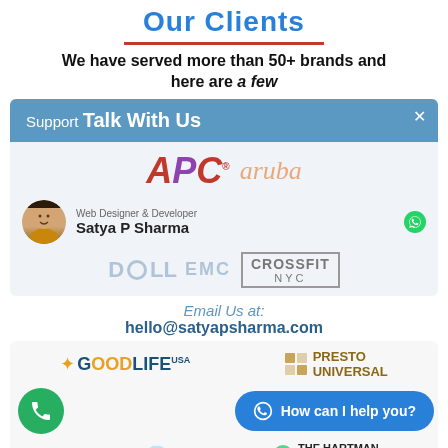Our Clients
We have served more than 50+ brands and here are a few
Support Talk With Us
[Figure (logo): APC logo (red/purple letters) and Aruba logo (orange text)]
[Figure (photo): Web Designer & Developer Satya P Sharma profile card with avatar photo]
[Figure (logo): Dell EMC logo and CrossFit NYC logo side by side]
Email Us at: hello@satyapsharma.com
[Figure (logo): GoodLife USA logo and Presto Universal logo]
How can I help you?
[Figure (logo): Signature logo and The Hartman Law Firm LLC logo]